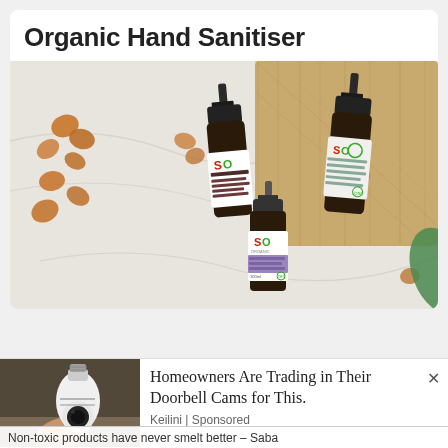Organic Hand Sanitiser
[Figure (photo): Three dark amber spray bottles of 'SO' brand organic hand sanitiser arranged on a white marble surface with scattered nuts and a wooden tray in the background]
[Figure (photo): Person holding a white security camera bulb device]
Homeowners Are Trading in Their Doorbell Cams for This.
Keilini | Sponsored
Non-toxic products have never smelt better – Saba